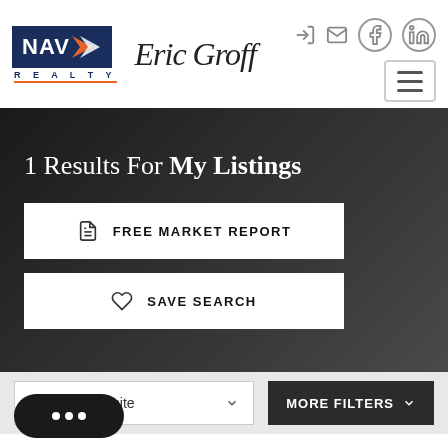[Figure (logo): NAV-X Realty logo with blue background and orange arrow, beside Eric Groff cursive signature]
1 Results For My Listings
FREE MARKET REPORT
SAVE SEARCH
Days on Website
MORE FILTERS